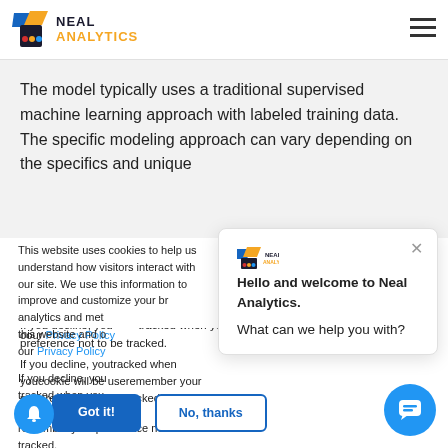[Figure (logo): Neal Analytics logo with colorful geometric icon and company name in dark and yellow text]
The model typically uses a traditional supervised machine learning approach with labeled training data. The specific modeling approach can vary depending on the specifics and unique characteristics of the manufacturing...
This website uses cookies to help us understand how visitors interact with our site. We use this information to improve and customize your browsing experience and for analytics and metrics about our visitors on this website and other media. To find out more about our Privacy Policy
If you decline, your information won't be tracked when you visit this website. A single cookie will be used in your browser to remember your preference not to be tracked.
Hello and welcome to Neal Analytics.
What can we help you with?
Got it!
No, thanks